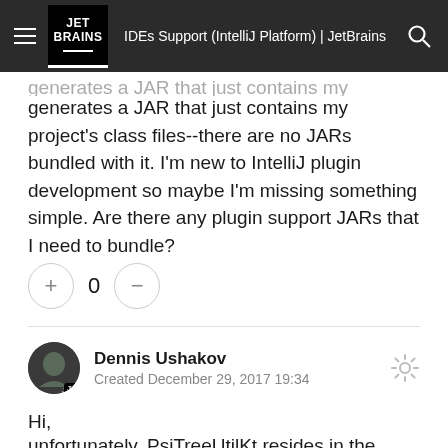IDEs Support (IntelliJ Platform) | JetBrains
generates a JAR that just contains my project's class files--there are no JARs bundled with it. I'm new to IntelliJ plugin development so maybe I'm missing something simple. Are there any plugin support JARs that I need to bundle?
0
Dennis Ushakov
Created December 29, 2017 19:34
Hi,

unfortunately, PsiTreeUtilKt resides in the java-impl module which is available only in IDEs with Java support (IntelliJ Community and Ultimate)